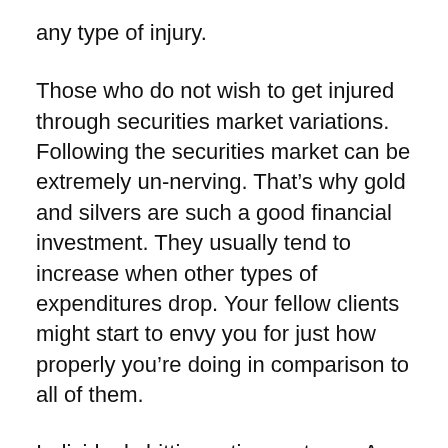any type of injury.
Those who do not wish to get injured through securities market variations. Following the securities market can be extremely un-nerving. That’s why gold and silvers are such a good financial investment. They usually tend to increase when other types of expenditures drop. Your fellow clients might start to envy you for just how properly you’re doing in comparison to all of them.
Individuals hitting retirement age. A worry-free retired life may be challenging to come by if our experts undergo another intense recession. Whether you are actually resigned or even about to, having rare-earth elements could be an exceptional expenditure for